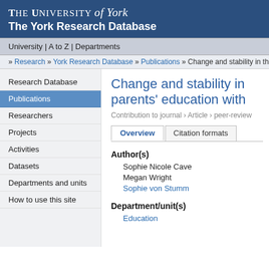THE UNIVERSITY of York
The York Research Database
University | A to Z | Departments
» Research » York Research Database » Publications » Change and stability in the
Research Database
Publications
Researchers
Projects
Activities
Datasets
Departments and units
How to use this site
Change and stability in parents' education with
Contribution to journal › Article › peer-review
Overview | Citation formats
Author(s)
Sophie Nicole Cave
Megan Wright
Sophie von Stumm
Department/unit(s)
Education